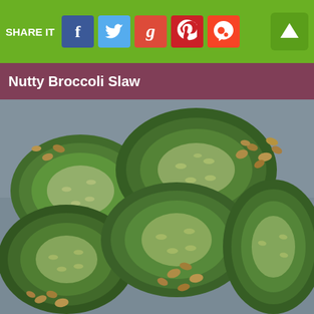SHARE IT
Nutty Broccoli Slaw
[Figure (photo): Sliced cucumber rounds topped with chopped nuts (walnuts/peanuts) on a plate, viewed close up]